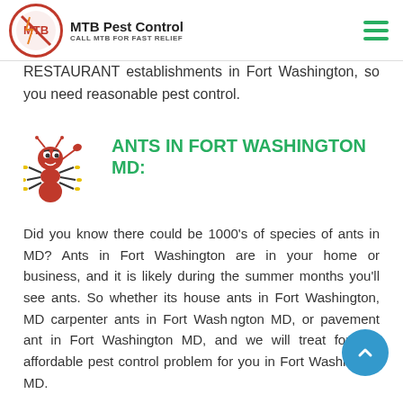MTB Pest Control — CALL MTB FOR FAST RELIEF
RESTAURANT establishments in Fort Washington, so you need reasonable pest control.
ANTS IN FORT WASHINGTON MD:
Did you know there could be 1000's of species of ants in MD? Ants in Fort Washington are in your home or business, and it is likely during the summer months you'll see ants. So whether its house ants in Fort Washington, MD carpenter ants in Fort Washington MD, or pavement ant in Fort Washington MD, and we will treat for this affordable pest control problem for you in Fort Washington MD.